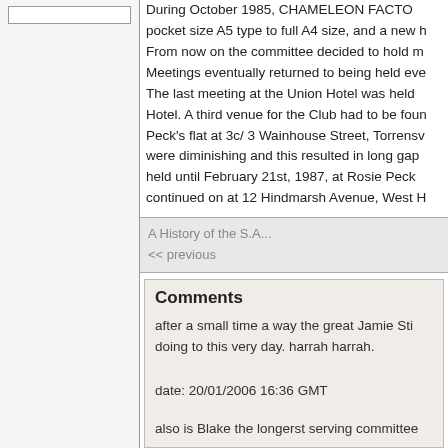During October 1985, CHAMELEON FACTOR... pocket size A5 type to full A4 size, and a new h... From now on the committee decided to hold m... Meetings eventually returned to being held eve... The last meeting at the Union Hotel was held... Hotel. A third venue for the Club had to be foun... Peck's flat at 3c/ 3 Wainhouse Street, Torrensv... were diminishing and this resulted in long gap... held until February 21st, 1987, at Rosie Peck... continued on at 12 Hindmarsh Avenue, West H...
A History of the S.A...
<< previous
Comments
after a small time a way the great Jamie Stic... doing to this very day. harrah harrah.
date: 20/01/2006 16:36 GMT
also is Blake the longerst serving committee...
date: 20/01/2006 16:38 GMT
Sureley "Blake" is just a honorary title, passe...